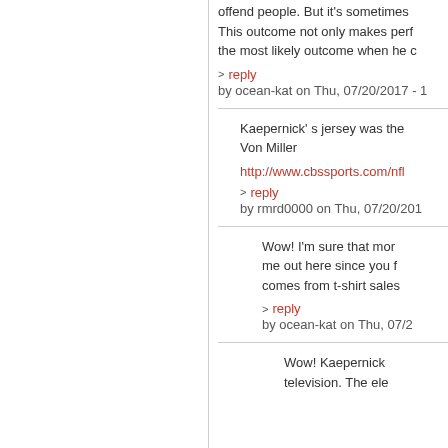offend people. But it's sometimes This outcome not only makes perf the most likely outcome when he c
reply by ocean-kat on Thu, 07/20/2017 - 1
Kaepernick' s jersey was the Von Miller
http://www.cbssports.com/nfl
reply by rmrd0000 on Thu, 07/20/201
Wow! I'm sure that mor me out here since you f comes from t-shirt sales
reply by ocean-kat on Thu, 07/2
Wow! Kaepernick television. The ele